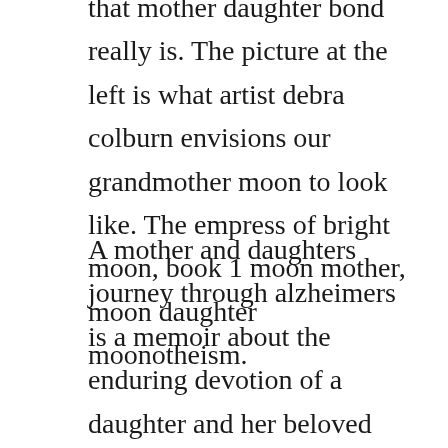that mother daughter bond really is. The picture at the left is what artist debra colburn envisions our grandmother moon to look like. The empress of bright moon, book 1 moon mother, moon daughter moonotheism.
A mother and daughters journey through alzheimers is a memoir about the enduring devotion of a daughter and her beloved mother, their lives imperiled by an abusive marriage and a debilitating disease. Authors lucy and allison weave moon and goddess mythology and provide a myriad of activities for moms and daughter to do independently